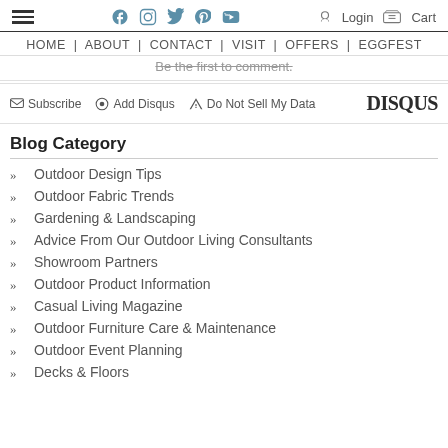≡  f  Instagram  Twitter  Pinterest  YouTube  Login  Cart
HOME | ABOUT | CONTACT | VISIT | OFFERS | EGGFEST
Be the first to comment.
✉ Subscribe  ⊙ Add Disqus  ⚠ Do Not Sell My Data   DISQUS
Blog Category
Outdoor Design Tips
Outdoor Fabric Trends
Gardening & Landscaping
Advice From Our Outdoor Living Consultants
Showroom Partners
Outdoor Product Information
Casual Living Magazine
Outdoor Furniture Care & Maintenance
Outdoor Event Planning
Decks & Floors